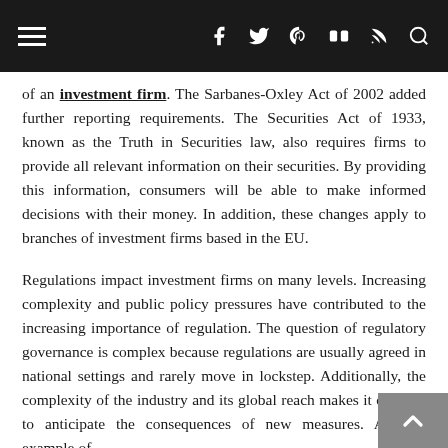navigation bar with hamburger menu and social icons
of an investment firm. The Sarbanes-Oxley Act of 2002 added further reporting requirements. The Securities Act of 1933, known as the Truth in Securities law, also requires firms to provide all relevant information on their securities. By providing this information, consumers will be able to make informed decisions with their money. In addition, these changes apply to branches of investment firms based in the EU.
Regulations impact investment firms on many levels. Increasing complexity and public policy pressures have contributed to the increasing importance of regulation. The question of regulatory governance is complex because regulations are usually agreed in national settings and rarely move in lockstep. Additionally, the complexity of the industry and its global reach makes it difficult to anticipate the consequences of new measures. A good example of